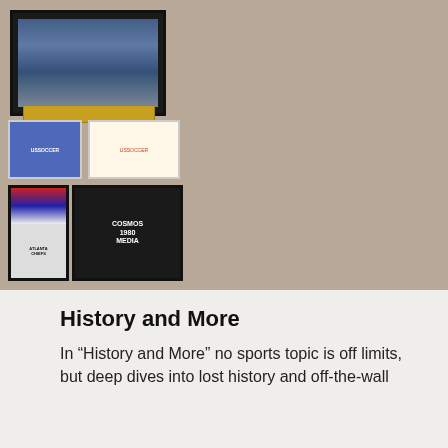[Figure (logo): Adamsonmedia.com logo: soccer ball with comedy/tragedy theater masks and yellow ribbons, on black background]
ADAMSONMEDIA.COM
Humor and sports from Scott Adamson
[Figure (photo): Wall of framed soccer memorabilia photos and plaques including stadium photos, COSMOS 1980 media guide, Atlanta Chiefs materials]
History and More
In “History and More” no sports topic is off limits, but deep dives into lost history and off-the-wall